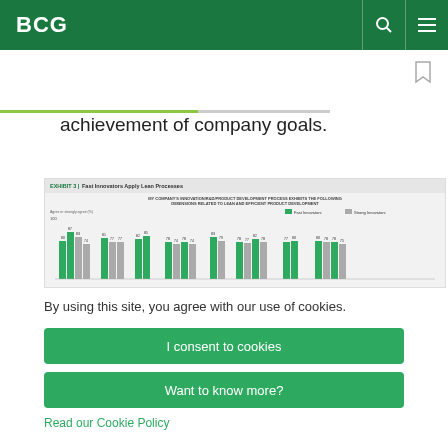BCG
achievement of company goals.
[Figure (grouped-bar-chart): Bar chart showing: MY COMPANY'S INNOVATION/R&D/PRODUCT DEVELOPMENT PROCESS EXHIBITS THE FOLLOWING DIMENSIONS RELATED TO LEAN AND EFFICIENT PRODUCT DEVELOPMENT. Agree or strongly agree (%). Shows grouped bars for Fast Innovators and Strong Innovators across multiple dimensions with values ranging from 74-87.]
By using this site, you agree with our use of cookies.
I consent to cookies
Want to know more?
Read our Cookie Policy